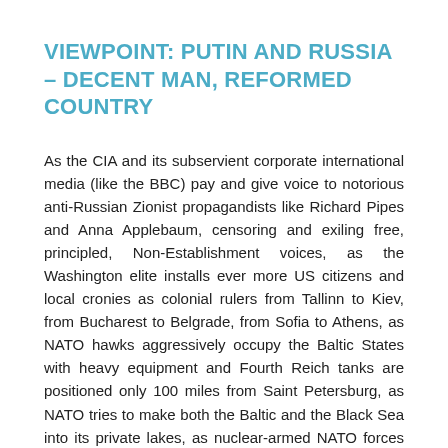VIEWPOINT: PUTIN AND RUSSIA – DECENT MAN, REFORMED COUNTRY
As the CIA and its subservient corporate international media (like the BBC) pay and give voice to notorious anti-Russian Zionist propagandists like Richard Pipes and Anna Applebaum, censoring and exiling free, principled, Non-Establishment voices, as the Washington elite installs ever more US citizens and local cronies as colonial rulers from Tallinn to Kiev, from Bucharest to Belgrade, from Sofia to Athens, as NATO hawks aggressively occupy the Baltic States with heavy equipment and Fourth Reich tanks are positioned only 100 miles from Saint Petersburg, as NATO tries to make both the Baltic and the Black Sea into its private lakes, as nuclear-armed NATO forces again threaten Serbia, Macedonia and Montenegro, carry out exercises in Moldova and still enslaved gauleiter Ukraine, set up missile systems in